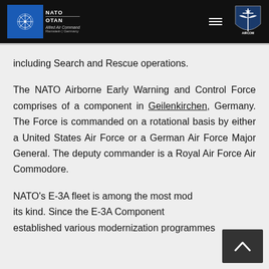NATO OTAN Allied Air Command — AIRCOM header navigation bar
including Search and Rescue operations.
The NATO Airborne Early Warning and Control Force comprises of a component in Geilenkirchen, Germany. The Force is commanded on a rotational basis by either a United States Air Force or a German Air Force Major General. The deputy commander is a Royal Air Force Air Commodore.
NATO's E-3A fleet is among the most mod its kind. Since the E-3A Component established various modernization programmes